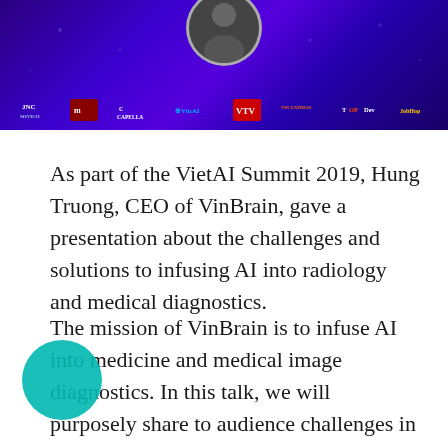[Figure (photo): Banner image for VietAI Summit 2019 with purple/violet background showing sponsor logos including JNC, Sovico Group, Capella, VinAI, VTV, VnExpress, TopDev, JobHop, and a person silhouette at top center]
As part of the VietAI Summit 2019, Hung Truong, CEO of VinBrain, gave a presentation about the challenges and solutions to infusing AI into radiology and medical diagnostics.
The mission of VinBrain is to infuse AI into medicine and medical image diagnostics. In this talk, we will purposely share to audience challenges in this problem space in terms of data and knowledge bias by hospital, unbalanced and complexity in labeling medical images while generalization of machine learning models is not far away of that AI...